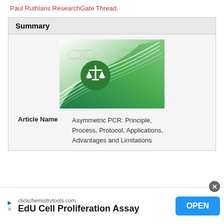Paul Ruthlans ResearchGate Thread.
Summary
[Figure (illustration): Article thumbnail image showing a green gradient wave design with white curved lines. A green circle with a white balance/scales of justice icon is overlaid on the left. In the background, there are faint DNA helix illustrations.]
Article Name   Asymmetric PCR: Principle, Process, Protocol, Applications, Advantages and Limitations